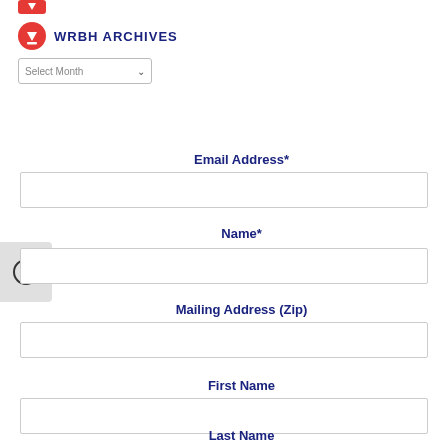[Figure (logo): Red partial logo at top left corner]
WRBH ARCHIVES
Select Month (dropdown)
Email Address*
Name*
Mailing Address (Zip)
First Name
Last Name